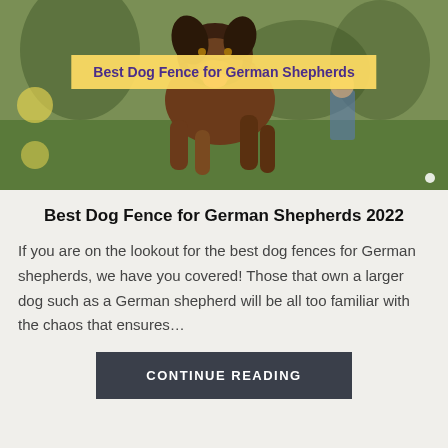[Figure (photo): A German Shepherd dog running outdoors on grass, mouth open with tongue out, photographed mid-leap. Yellow circular bokeh elements visible on the left side. A person visible in blurred background.]
Best Dog Fence for German Shepherds 2022
If you are on the lookout for the best dog fences for German shepherds, we have you covered! Those that own a larger dog such as a German shepherd will be all too familiar with the chaos that ensures…
CONTINUE READING